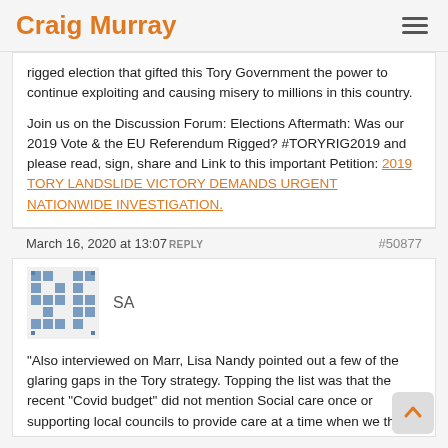Craig Murray
rigged election that gifted this Tory Government the power to continue exploiting and causing misery to millions in this country.
Join us on the Discussion Forum: Elections Aftermath: Was our 2019 Vote & the EU Referendum Rigged? #TORYRIG2019 and please read, sign, share and Link to this important Petition: 2019 TORY LANDSLIDE VICTORY DEMANDS URGENT NATIONWIDE INVESTIGATION.
March 16, 2020 at 13:07 REPLY  #50877
[Figure (other): Pixelated user avatar icon in blue/grey squares pattern]
SA
"Also interviewed on Marr, Lisa Nandy pointed out a few of the glaring gaps in the Tory strategy. Topping the list was that the recent "Covid budget" did not mention Social care once or supporting local councils to provide care at a time when we they